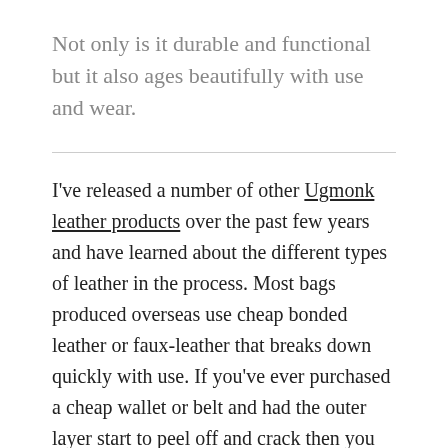Not only is it durable and functional but it also ages beautifully with use and wear.
I've released a number of other Ugmonk leather products over the past few years and have learned about the different types of leather in the process. Most bags produced overseas use cheap bonded leather or faux-leather that breaks down quickly with use. If you've ever purchased a cheap wallet or belt and had the outer layer start to peel off and crack then you know exactly what